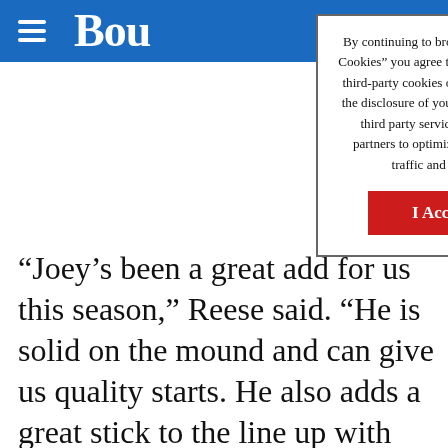Bou
By continuing to browse or by clicking “I Accept Cookies” you agree to the storing of first-party and third-party cookies on your device and consent to the disclosure of your personal information to our third party service providers or advertising partners to optimize your experience, analyze traffic and personalize content.

I Accept Cookies
“Joey’s been a great add for us this season,” Reese said. “He is solid on the mound and can give us quality starts. He also adds a great stick to the line up with one of the highest averages on the team. Even though